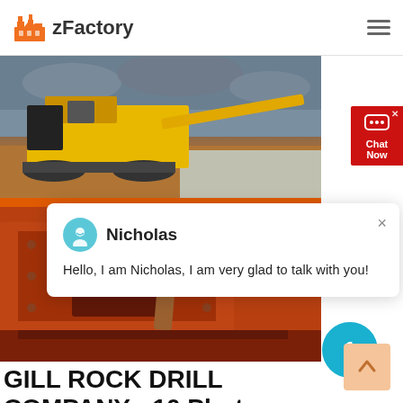zFactory
[Figure (photo): Yellow mobile crushing/screening machine on a rocky outdoor site with cloudy sky background]
[Figure (screenshot): Chat popup with avatar icon of Nicholas saying: Hello, I am Nicholas, I am very glad to talk with you!]
[Figure (photo): Large orange industrial rock crusher machine, close-up view]
GILL ROCK DRILL COMPANY - 10 Photos - Well Drilling -